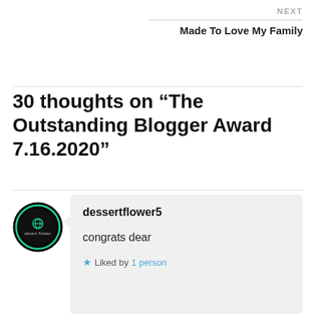NEXT
Made To Love My Family
30 thoughts on “The Outstanding Blogger Award 7.16.2020”
dessertflower5
congrats dear
★ Liked by 1 person